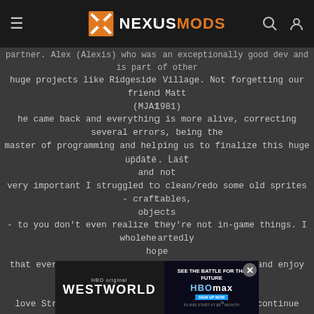NEXUSMODS
partner. Alex (Alexis) who was an exceptionally good dev and is part of other
huge projects like Ridgeside Village. Not forgetting our friend Matt (MJA1981)
he came back and everything is more alive, correcting several errors, being the
master of programming and helping us to finalize this huge update. Last and not
very important I struggled to clean/redo some old sprites - craftables, objects
- to you don't even realize they're not in-game things. I wholeheartedly hope
that everyone will have fun with these changes and enjoy our work, because I
love Strange Machines very much and I want to continue with this project to the
end. With love, Strange Makers team!
ps: the warn topic is super important, don't forget to read him
[Figure (screenshot): Westworld HBO/HBOMax advertisement banner at the bottom of the page]